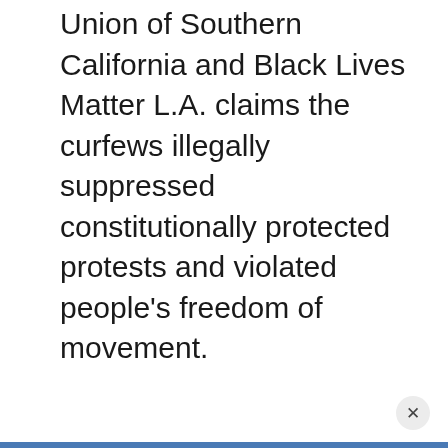Union of Southern California and Black Lives Matter L.A. claims the curfews illegally suppressed constitutionally protected protests and violated people's freedom of movement.